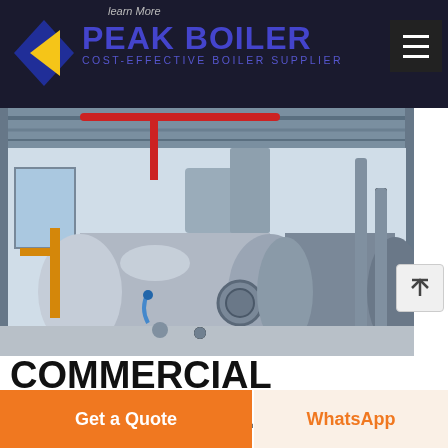learn More
[Figure (logo): Peak Boiler logo with blue diamond shape and yellow triangle, text: PEAK BOILER COST-EFFECTIVE BOILER SUPPLIER]
[Figure (photo): Industrial commercial boiler installation in a factory/plant setting showing large silver cylindrical boilers with pipes and ductwork]
COMMERCIAL CENTRAL HEATING BOILER
The 70 kW Commercial combi boiler – can be set up to any
Get a Quote
WhatsApp